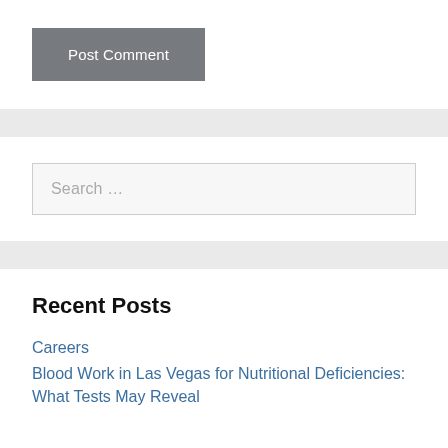Post Comment
Search …
Recent Posts
Careers
Blood Work in Las Vegas for Nutritional Deficiencies: What Tests May Reveal